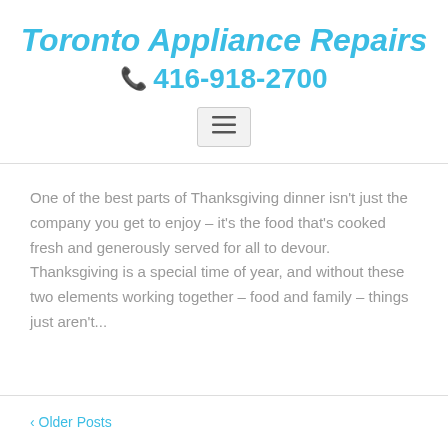Toronto Appliance Repairs
📞 416-918-2700
[Figure (other): Hamburger menu button with three horizontal lines inside a rounded rectangle]
One of the best parts of Thanksgiving dinner isn't just the company you get to enjoy – it's the food that's cooked fresh and generously served for all to devour. Thanksgiving is a special time of year, and without these two elements working together – food and family – things just aren't...
‹ Older Posts